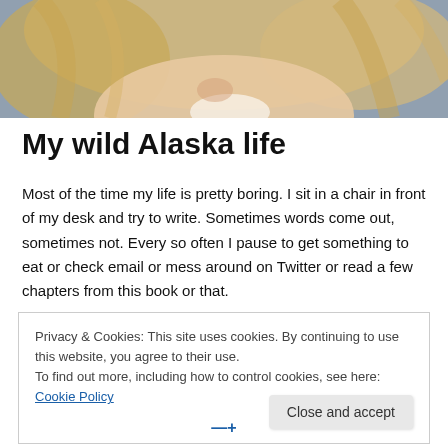[Figure (photo): Partial photo of a blonde woman smiling, shot from below/close up, with a grey wall background. Only lower face and hair visible.]
My wild Alaska life
Most of the time my life is pretty boring. I sit in a chair in front of my desk and try to write. Sometimes words come out, sometimes not. Every so often I pause to get something to eat or check email or mess around on Twitter or read a few chapters from this book or that.
Privacy & Cookies: This site uses cookies. By continuing to use this website, you agree to their use.
To find out more, including how to control cookies, see here: Cookie Policy
Close and accept